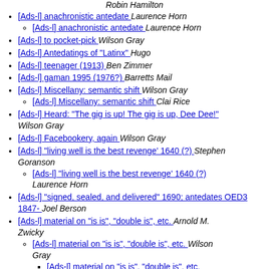Robin Hamilton
[Ads-l] anachronistic antedate  Laurence Horn
[Ads-l] anachronistic antedate  Laurence Horn
[Ads-l] to pocket-pick  Wilson Gray
[Ads-l] Antedatings of "Latinx"  Hugo
[Ads-l] teenager (1913)  Ben Zimmer
[Ads-l] gaman 1995 (1976?)  Barretts Mail
[Ads-l] Miscellany: semantic shift  Wilson Gray
[Ads-l] Miscellany: semantic shift  Clai Rice
[Ads-l] Heard: "The gig is up! The gig is up, Dee Dee!"  Wilson Gray
[Ads-l] Facebookery, again  Wilson Gray
[Ads-l] "living well is the best revenge' 1640 (?)  Stephen Goranson
[Ads-l] "living well is the best revenge' 1640 (?)  Laurence Horn
[Ads-l] "signed, sealed, and delivered" 1690; antedates OED3 1847-  Joel Berson
[Ads-l] material on "is is", "double is", etc.  Arnold M. Zwicky
[Ads-l] material on "is is", "double is", etc.  Wilson Gray
[Ads-l] material on "is is", "double is", etc.  Margaret Lee
[Ads-l] material on "is is", "double is",  Arnold M. Zwicky